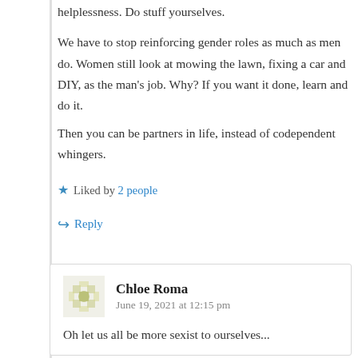helplessness. Do stuff yourselves.
We have to stop reinforcing gender roles as much as men do. Women still look at mowing the lawn, fixing a car and DIY, as the man’s job. Why? If you want it done, learn and do it.
Then you can be partners in life, instead of codependent whingers.
Liked by 2 people
Reply
Chloe Roma
June 19, 2021 at 12:15 pm
Oh let us all be more sexist to ourselves...